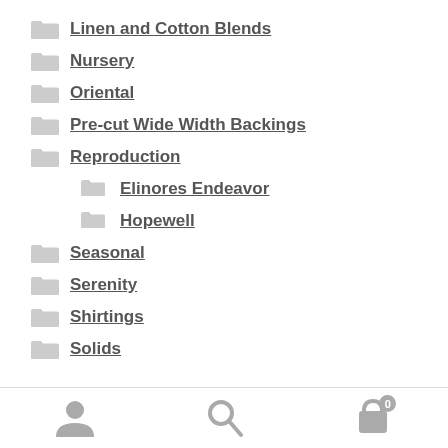Linen and Cotton Blends
Nursery
Oriental
Pre-cut Wide Width Backings
Reproduction
Elinores Endeavor
Hopewell
Seasonal
Serenity
Shirtings
Solids
Navigation bar with user, search, and cart (0) icons